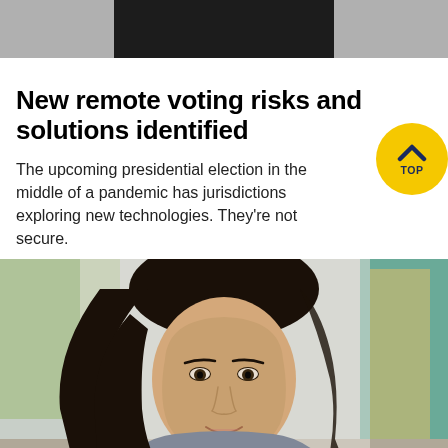[Figure (photo): Top banner image with dark background bar]
New remote voting risks and solutions identified
The upcoming presidential election in the middle of a pandemic has jurisdictions exploring new technologies. They're not secure.
[Figure (photo): Portrait photo of a young Asian woman with dark hair, smiling, in an indoor setting with blurred background]